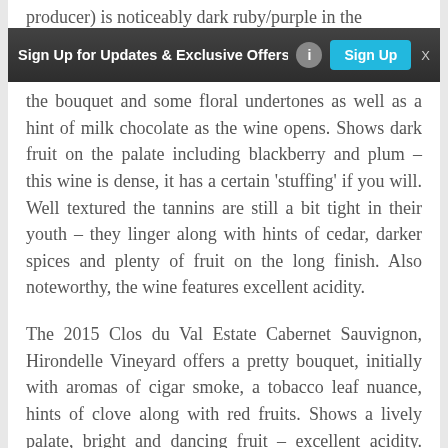producer) is noticeably dark ruby/purple in the the bouquet and some floral undertones as well as a hint of milk chocolate as the wine opens. Shows dark fruit on the palate including blackberry and plum – this wine is dense, it has a certain 'stuffing' if you will. Well textured the tannins are still a bit tight in their youth – they linger along with hints of cedar, darker spices and plenty of fruit on the long finish. Also noteworthy, the wine features excellent acidity.
[Figure (screenshot): Banner advertisement: 'Sign Up for Updates & Exclusive Offers' with an info icon and a cyan 'Sign Up' button, on a dark grey background. An 'X' close button is at top right.]
The 2015 Clos du Val Estate Cabernet Sauvignon, Hirondelle Vineyard offers a pretty bouquet, initially with aromas of cigar smoke, a tobacco leaf nuance, hints of clove along with red fruits. Shows a lively palate, bright and dancing fruit – excellent acidity. Very balanced the tannins are fairly well integrated and smooth – a bit dusty in nature. The finish also lingers with a slight red